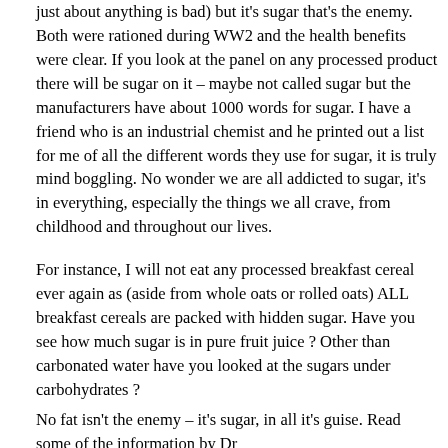just about anything is bad) but it's sugar that's the enemy. Both were rationed during WW2 and the health benefits were clear. If you look at the panel on any processed product there will be sugar on it – maybe not called sugar but the manufacturers have about 1000 words for sugar. I have a friend who is an industrial chemist and he printed out a list for me of all the different words they use for sugar, it is truly mind boggling. No wonder we are all addicted to sugar, it's in everything, especially the things we all crave, from childhood and throughout our lives.
For instance, I will not eat any processed breakfast cereal ever again as (aside from whole oats or rolled oats) ALL breakfast cereals are packed with hidden sugar. Have you see how much sugar is in pure fruit juice ? Other than carbonated water have you looked at the sugars under carbohydrates ?
No fat isn't the enemy – it's sugar, in all it's guise. Read some of the information by Dr